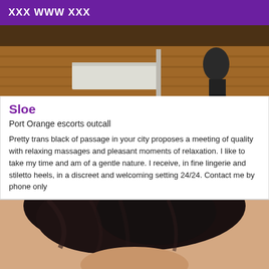XXX WWW XXX
[Figure (photo): Partial view of a room with wooden floor, white baseboard trim, and a high-heel shoe visible in the upper right corner]
Sloe
Port Orange escorts outcall
Pretty trans black of passage in your city proposes a meeting of quality with relaxing massages and pleasant moments of relaxation. I like to take my time and am of a gentle nature. I receive, in fine lingerie and stiletto heels, in a discreet and welcoming setting 24/24. Contact me by phone only
[Figure (photo): Close-up photo of a person's head with dark hair, face partially visible at the bottom of the frame]